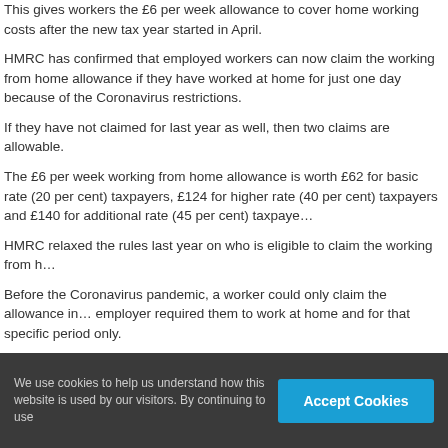This gives workers the £6 per week allowance to cover home working costs after the new tax year started in April.
HMRC has confirmed that employed workers can now claim the working from home allowance if they have worked at home for just one day because of the Coronavirus restrictions.
If they have not claimed for last year as well, then two claims are allowable.
The £6 per week working from home allowance is worth £62 for basic rate (20 per cent) taxpayers, £124 for higher rate (40 per cent) taxpayers and £140 for additional rate (45 per cent) taxpayers.
HMRC relaxed the rules last year on who is eligible to claim the working from home allowance.
Before the Coronavirus pandemic, a worker could only claim the allowance if their employer required them to work at home and for that specific period only.
HMRC's microservice site was already up and running so it makes sense for them to use it again this year.
HMRC is also likely to be wary of people making standalone claims for working from home given the additional time and cost it would take to process these, so it makes sense from their side to let the system run for another year.
We use cookies to help us understand how this website is used by our visitors. By continuing to use